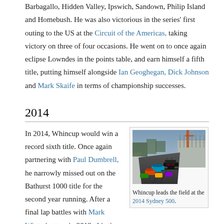Barbagallo, Hidden Valley, Ipswich, Sandown, Philip Island and Homebush. He was also victorious in the series' first outing to the US at the Circuit of the Americas, taking victory on three of four occasions. He went on to once again eclipse Lowndes in the points table, and earn himself a fifth title, putting himself alongside Ian Geoghegan, Dick Johnson and Mark Skaife in terms of championship successes.
2014
In 2014, Whincup would win a record sixth title. Once again partnering with Paul Dumbrell, he narrowly missed out on the Bathurst 1000 title for the second year running. After a final lap battles with Mark Winterbottom in 2013, this time he lost out to Ford Performance Racing
[Figure (photo): Racing cars on a street circuit, Whincup leading the field at the 2014 Sydney 500]
Whincup leads the field at the 2014 Sydney 500.